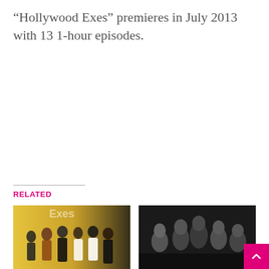“Hollywood Exes” premieres in July 2013 with 13 1-hour episodes.
RELATED
[Figure (photo): Group photo of women in front of a yellow backdrop, associated with Atlanta Exes / Hollywood Exes VH1 show]
VH1 officially announces Atlanta Exes starring ex-wives of Usher, Cee-Lo
[Figure (photo): Black and white group photo of women posing together, associated with VH1 Atlanta Exes super trailer preview clip]
VIDEO VH1’s Atlanta Exes super trailer preview clip